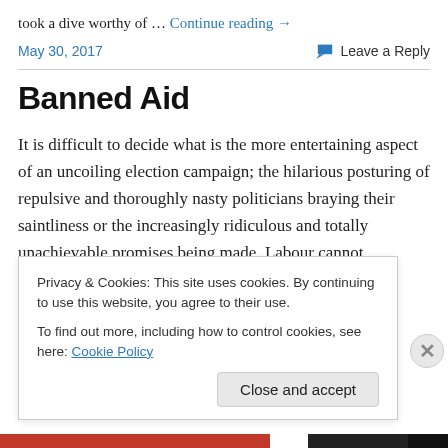took a dive worthy of … Continue reading →
May 30, 2017   Leave a Reply
Banned Aid
It is difficult to decide what is the more entertaining aspect of an uncoiling election campaign; the hilarious posturing of repulsive and thoroughly nasty politicians braying their saintliness or the increasingly ridiculous and totally unachievable promises being made. Labour cannot
Privacy & Cookies: This site uses cookies. By continuing to use this website, you agree to their use.
To find out more, including how to control cookies, see here: Cookie Policy
Close and accept